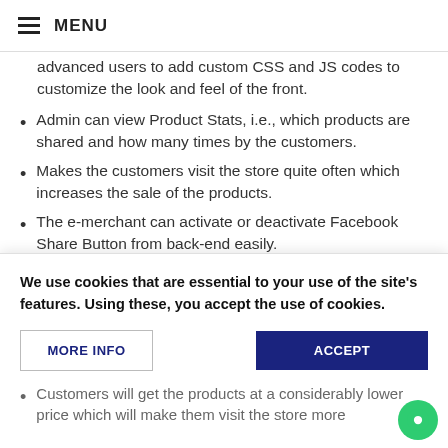MENU
advanced users to add custom CSS and JS codes to customize the look and feel of the front.
Admin can view Product Stats, i.e., which products are shared and how many times by the customers.
Makes the customers visit the store quite often which increases the sale of the products.
The e-merchant can activate or deactivate Facebook Share Button from back-end easily.
The PrestaShop share on Facebook wall addon is mobile responsive.
It is very easy to install and configure the
We use cookies that are essential to your use of the site's features. Using these, you accept the use of cookies.
MORE INFO
ACCEPT
Customers will get the products at a considerably lower price which will make them visit the store more